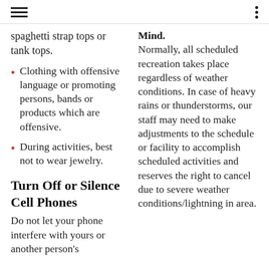≡  ⋮
spaghetti strap tops or tank tops.
Clothing with offensive language or promoting persons, bands or products which are offensive.
During activities, best not to wear jewelry.
Turn Off or Silence Cell Phones
Do not let your phone interfere with yours or another person's
Mind. Normally, all scheduled recreation takes place regardless of weather conditions. In case of heavy rains or thunderstorms, our staff may need to make adjustments to the schedule or facility to accomplish scheduled activities and reserves the right to cancel due to severe weather conditions/lightning in area.